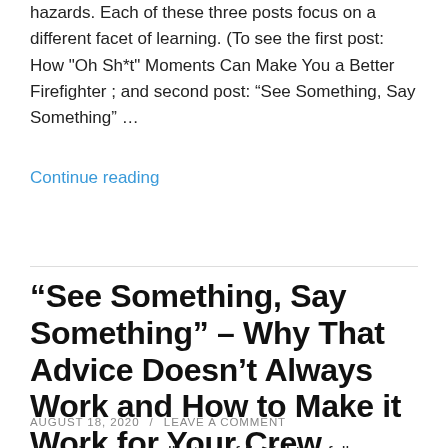hazards. Each of these three posts focus on a different facet of learning. (To see the first post:  How "Oh Sh*t" Moments Can Make You a Better Firefighter ; and second post: “See Something, Say Something” …
Continue reading
“See Something, Say Something” – Why That Advice Doesn’t Always Work and How to Make it Work for Your Crew
AUGUST 18, 2020 / LEAVE A COMMENT
A proximity in a collection of firefighting fall…